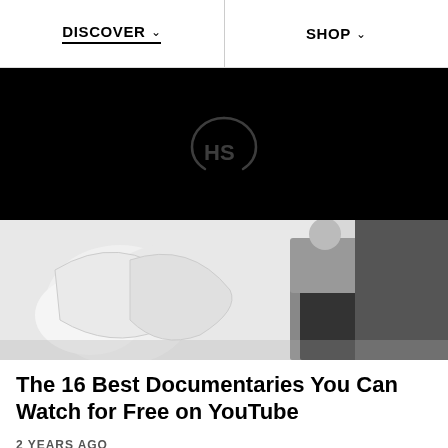DISCOVER   SHOP
[Figure (screenshot): Dark/black video thumbnail with HS logo watermark in center]
[Figure (photo): Photo of a person standing next to large white sculptural forms in a studio or workspace]
The 16 Best Documentaries You Can Watch for Free on YouTube
2 YEARS AGO